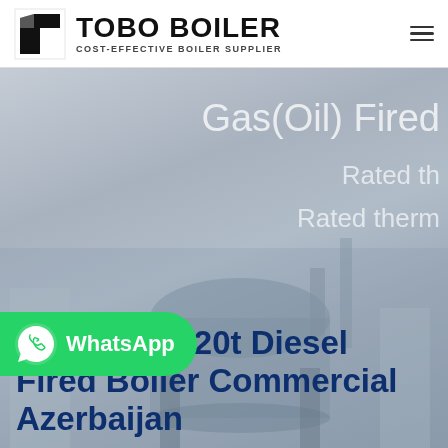[Figure (logo): TOBO BOILER logo with black geometric icon and text 'COST-EFFECTIVE BOILER SUPPLIER']
[Figure (photo): Hero banner image with industrial boiler equipment, light gray/blue toned background]
Gas(Oil) Fired
Rated th
Rated therm
Distributor 20t Diesel Fired Boiler Commercial Azerbaijan
[Figure (logo): WhatsApp button - green rounded button with WhatsApp icon and text 'WhatsApp']